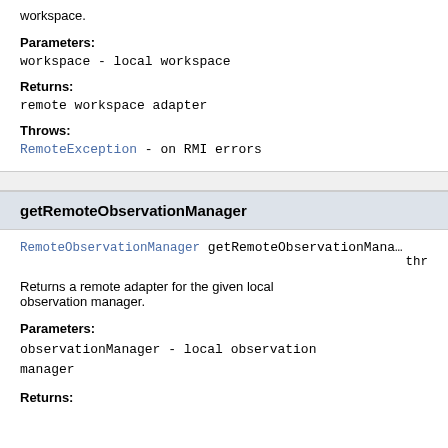workspace.
Parameters:
workspace - local workspace
Returns:
remote workspace adapter
Throws:
RemoteException - on RMI errors
getRemoteObservationManager
RemoteObservationManager getRemoteObservationMana... thr
Returns a remote adapter for the given local observation manager.
Parameters:
observationManager - local observation manager
Returns: